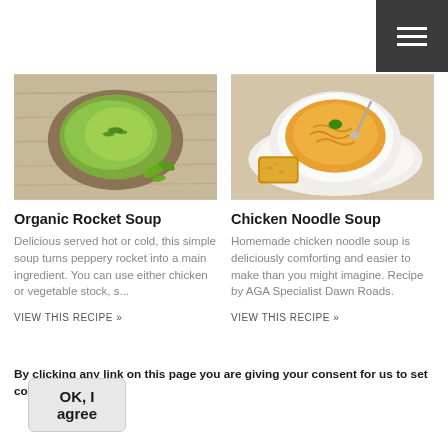[Figure (photo): Bowl of green rocket soup on a wooden surface with rocket leaves]
[Figure (photo): Bowl of chicken noodle soup with bread in a white bowl on a white plate]
Organic Rocket Soup
Delicious served hot or cold, this simple soup turns peppery rocket into a main ingredient. You can use either chicken or vegetable stock, s...
VIEW THIS RECIPE »
Chicken Noodle Soup
Homemade chicken noodle soup is deliciously comforting and easier to make than you might imagine. Recipe by AGA Specialist Dawn Roads.
VIEW THIS RECIPE »
By clicking any link on this page you are giving your consent for us to set cookies. More info
OK, I agree